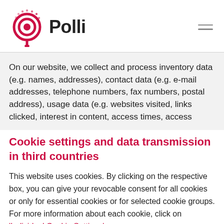Polli
On our website, we collect and process inventory data (e.g. names, addresses), contact data (e.g. e-mail addresses, telephone numbers, fax numbers, postal address), usage data (e.g. websites visited, links clicked, interest in content, access times, access
Cookie settings and data transmission in third countries
This website uses cookies. By clicking on the respective box, you can give your revocable consent for all cookies or only for essential cookies or for selected cookie groups. For more information about each cookie, click on 'Individual Cookie Settings'.